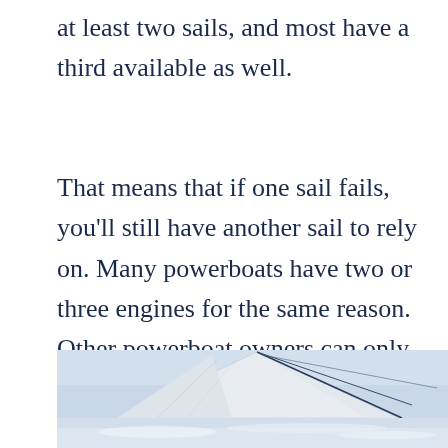at least two sails, and most have a third available as well.
That means that if one sail fails, you'll still have another sail to rely on. Many powerboats have two or three engines for the same reason. Other powerboat owners can only afford one engine, either in cost or in weight.
[Figure (photo): A close-up photograph of white sails on a sailboat against a light blue sky, with ropes/rigging visible. The lower portion shows white water or wake.]